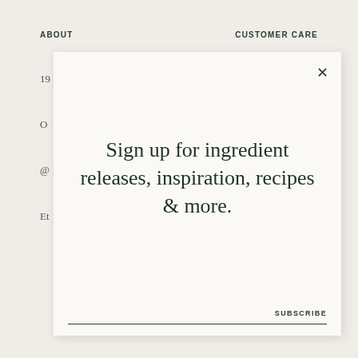ABOUT    CUSTOMER CARE
19
O
@
Et
[Figure (screenshot): Modal popup overlay on a website with close button (×), text 'Sign up for ingredient releases, inspiration, recipes & more.', SUBSCRIBE label and a horizontal line at the bottom.]